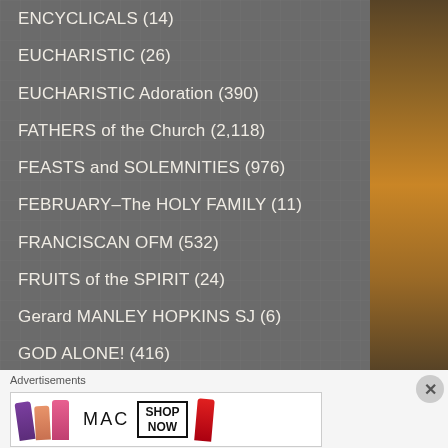ENCYCLICALS (14)
EUCHARISTIC (26)
EUCHARISTIC Adoration (390)
FATHERS of the Church (2,118)
FEASTS and SOLEMNITIES (976)
FEBRUARY–The HOLY FAMILY (11)
FRANCISCAN OFM (532)
FRUITS of the SPIRIT (24)
Gerard MANLEY HOPKINS SJ (6)
GOD ALONE! (416)
GOD is LOVE (149)
Advertisements